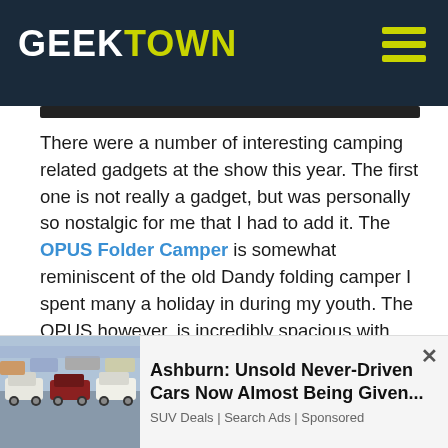GEEKTOWN
There were a number of interesting camping related gadgets at the show this year. The first one is not really a gadget, but was personally so nostalgic for me that I had to add it. The OPUS Folder Camper is somewhat reminiscent of the old Dandy folding camper I spent many a holiday in during my youth. The OPUS however, is incredibly spacious with large skylights in the roof making it a lovely space to be in. It's well fitted with all mod-cons and has full double beds at either end, so can comfortably sleep 4 adults. A really great update on a classic idea.
Next is the Tegstove. Still in development, they've come up with an ingenious way of using a stove that holds the conventional, cheaper, butane gas cylinders, to not only cook in a more effective way than the common Butane, Propane and Isobutane mix but also to power a thermoelectric
[Figure (photo): Advertisement photo showing a parking lot full of SUVs, with red and white vehicles visible]
Ashburn: Unsold Never-Driven Cars Now Almost Being Given...
SUV Deals | Search Ads | Sponsored